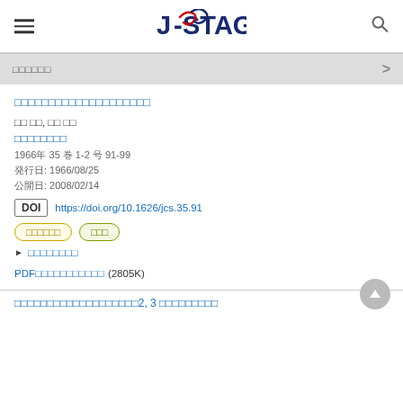J-STAGE
□□□□□□
□□□□□□□□□□□□□□□□□□□□
□□ □□, □□ □□
□□□□□□□□
1966年 35 巻 1-2 号 91-99
発行日: 1966/08/25
公開日: 2008/02/14
DOI https://doi.org/10.1626/jcs.35.91
□□□□□□　□□□
▶ □□□□□□□□
PDF□□□□□□□□□□□ (2805K)
□□□□□□□□□□□□□□□□□□□2, 3 □□□□□□□□□